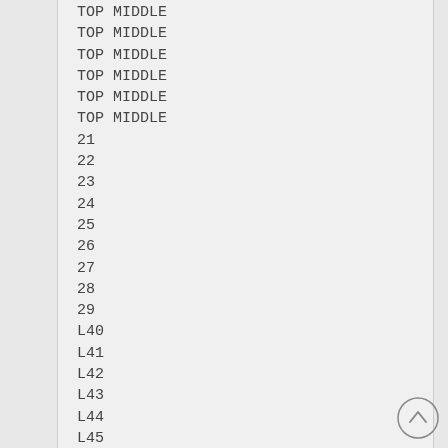TOP MIDDLE
TOP MIDDLE
TOP MIDDLE
TOP MIDDLE
TOP MIDDLE
TOP MIDDLE
21
22
23
24
25
26
27
28
29
L40
L41
L42
L43
L44
L45
L46
L47
L48
L49